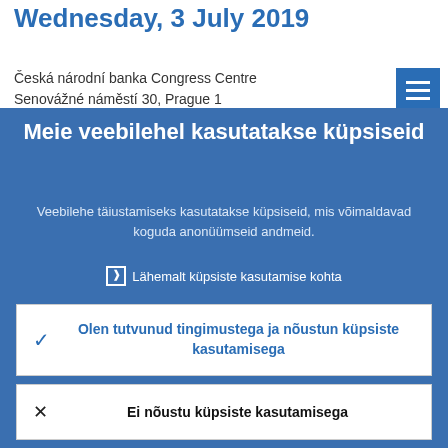Wednesday, 3 July 2019
Česká národní banka Congress Centre
Senovážné náměstí 30, Prague 1
Meie veebilehel kasutatakse küpsiseid
Veebilehe täiustamiseks kasutatakse küpsiseid, mis võimaldavad koguda anonüümseid andmeid.
❯ Lähemalt küpsiste kasutamise kohta
Olen tutvunud tingimustega ja nõustun küpsiste kasutamisega
Ei nõustu küpsiste kasutamisega